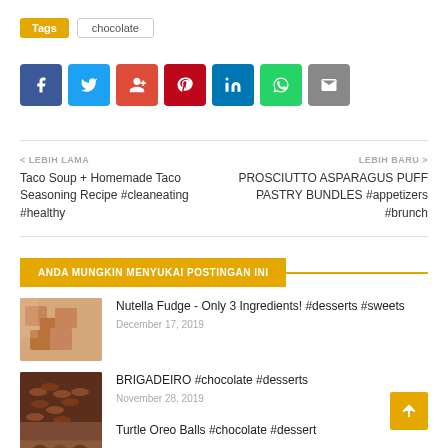Tags  chocolate
[Figure (infographic): Row of social share buttons: Facebook (blue), Twitter (light blue), Google+ (red-orange), Pinterest (dark red), LinkedIn (blue), WhatsApp (green), Email (grey)]
< LEBIH LAMA
Taco Soup + Homemade Taco Seasoning Recipe #cleaneating #healthy
LEBIH BARU >
PROSCIUTTO ASPARAGUS PUFF PASTRY BUNDLES #appetizers #brunch
ANDA MUNGKIN MENYUKAI POSTINGAN INI
[Figure (photo): Nutella fudge squares photo]
Nutella Fudge - Only 3 Ingredients! #desserts #sweets
December 17, 2019
[Figure (photo): Brigadeiro chocolate balls photo]
BRIGADEIRO #chocolate #desserts
November 28, 2019
[Figure (photo): Turtle Oreo Balls partial photo]
Turtle Oreo Balls #chocolate #dessert